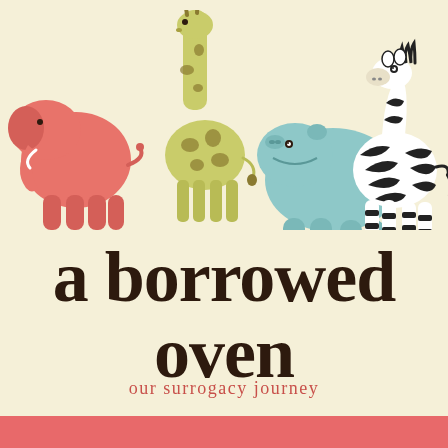[Figure (illustration): Four cartoon safari animals lined up in a row on a cream background: a pink/coral elephant on the far left, a yellow-green giraffe with brown spots, a light blue hippopotamus, and a black-and-white striped zebra on the far right.]
a borrowed oven
our surrogacy journey